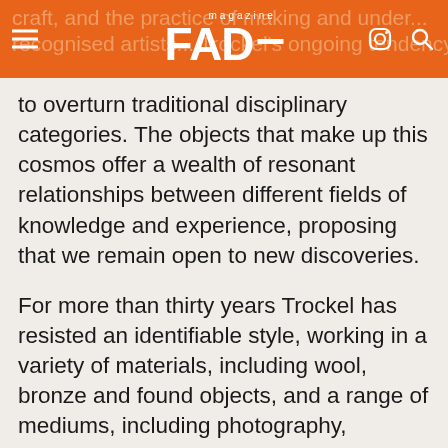FAD magazine
craft, and the practice of making and understanding, recognised artists including Trockel's ongoing tendency to overturn traditional disciplinary categories. The objects that make up this cosmos offer a wealth of resonant relationships between different fields of knowledge and experience, proposing that we remain open to new discoveries.
For more than thirty years Trockel has resisted an identifiable style, working in a variety of materials, including wool, bronze and found objects, and a range of mediums, including photography, collage, video and assemblage. The constants of her wide-ranging practice include issues that have long occupied her thinking and that have underpinned her diverse activity, such as contrasting ideas of feminism as well as the divides constructed between amateur and professional, celebrity and anonymity, and the fine and applied arts. More broadly, through her works Trockel probes not only interrelationships between humans and animals but also our impact, as a species, on the natural world.